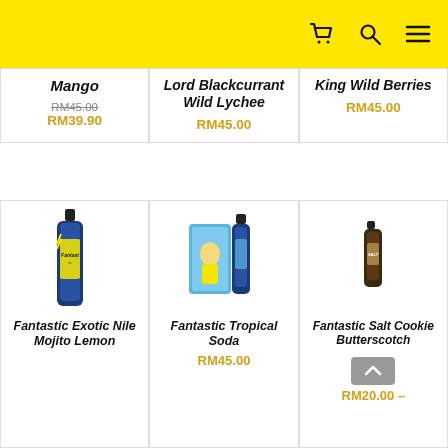header with cart, search, and menu icons
Mango RM45.00 RM39.90
Lord Blackcurrant Wild Lychee RM45.00
King Wild Berries RM45.00
[Figure (photo): Fantastic Exotic Nile Mojito Lemon vape bottle]
Fantastic Exotic Nile Mojito Lemon
[Figure (photo): Fantastic Tropical Soda vape product with bottles and cartoon character]
Fantastic Tropical Soda RM45.00
[Figure (photo): Fantastic Salt Cookie Butterscotch small vape bottle]
Fantastic Salt Cookie Butterscotch RM20.00 –